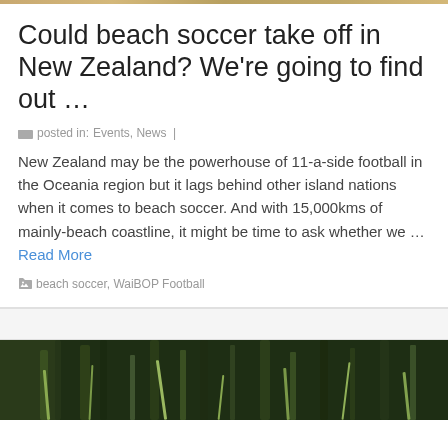[Figure (photo): Narrow top image strip showing a blurred outdoor/sports scene]
Could beach soccer take off in New Zealand? We're going to find out …
posted in: Events, News |
New Zealand may be the powerhouse of 11-a-side football in the Oceania region but it lags behind other island nations when it comes to beach soccer. And with 15,000kms of mainly-beach coastline, it might be time to ask whether we … Read More
beach soccer, WaiBOP Football
[Figure (photo): Close-up photograph of green plant foliage, partially visible at bottom of page]